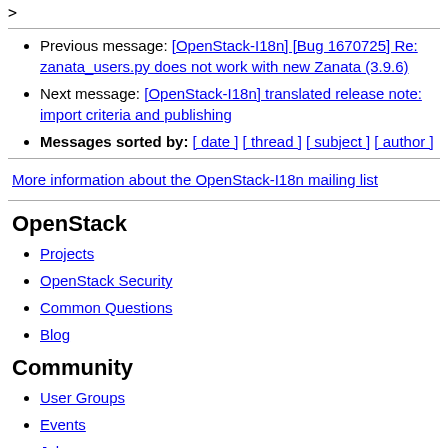>
Previous message: [OpenStack-I18n] [Bug 1670725] Re: zanata_users.py does not work with new Zanata (3.9.6)
Next message: [OpenStack-I18n] translated release note: import criteria and publishing
Messages sorted by: [ date ] [ thread ] [ subject ] [ author ]
More information about the OpenStack-I18n mailing list
OpenStack
Projects
OpenStack Security
Common Questions
Blog
Community
User Groups
Events
Jobs